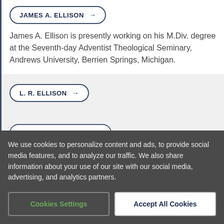JAMES A. ELLISON →
James A. Ellison is presently working on his M.Div. degree at the Seventh-day Adventist Theological Seminary, Andrews University, Berrien Springs, Michigan.
L. R. ELLISON →
JAMES C. ELLTHORP →
We use cookies to personalize content and ads, to provide social media features, and to analyze our traffic. We also share information about your use of our site with our social media, advertising, and analytics partners.
Cookies Settings
Accept All Cookies